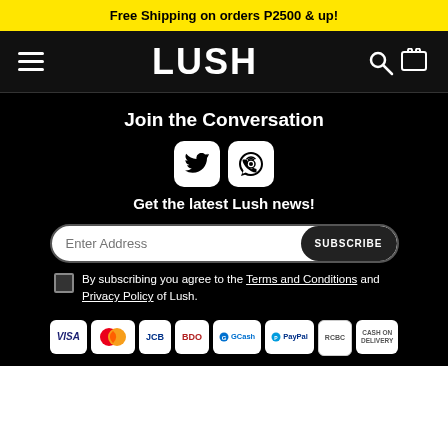Free Shipping on orders P2500 & up!
[Figure (logo): LUSH logo with hamburger menu, search icon and bag icon on black nav bar]
Join the Conversation
[Figure (infographic): Twitter and Viber social media icons in white rounded square boxes]
Get the latest Lush news!
Enter Address [input field] SUBSCRIBE button
By subscribing you agree to the Terms and Conditions and Privacy Policy of Lush.
[Figure (infographic): Payment method badges: VISA, Mastercard, JCB, BDO, GCash, PayPal, RCBC, CASH ON DELIVERY]